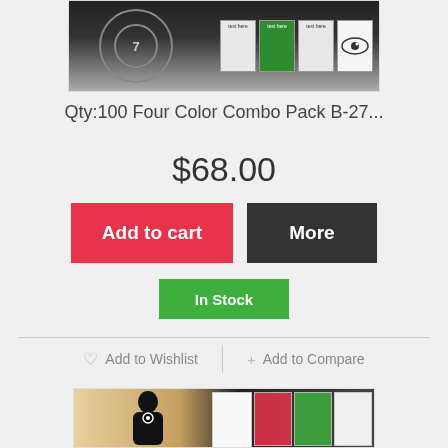[Figure (photo): Product image showing shooting target combo pack with colorful cards]
Qty:100 Four Color Combo Pack B-27...
$68.00
Add to cart
More
In Stock
♡ Add to Wishlist
+ Add to Compare
[Figure (photo): Second product image showing shooting target silhouette combo pack]